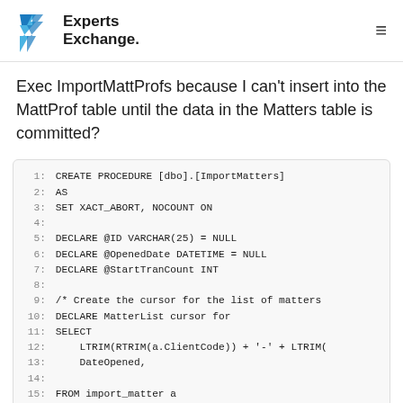Experts Exchange
Exec ImportMattProfs because I can't insert into the MattProf table until the data in the Matters table is committed?
1: CREATE PROCEDURE [dbo].[ImportMatters]
2: AS
3: SET XACT_ABORT, NOCOUNT ON
4:
5: DECLARE @ID VARCHAR(25) = NULL
6: DECLARE @OpenedDate DATETIME = NULL
7: DECLARE @StartTranCount INT
8:
9: /* Create the cursor for the list of matters
10: DECLARE MatterList cursor for
11: SELECT
12:     LTRIM(RTRIM(a.ClientCode)) + '-' + LTRIM(
13:     DateOpened,
14:
15: FROM import_matter a
16:
17: OPEN MatterList